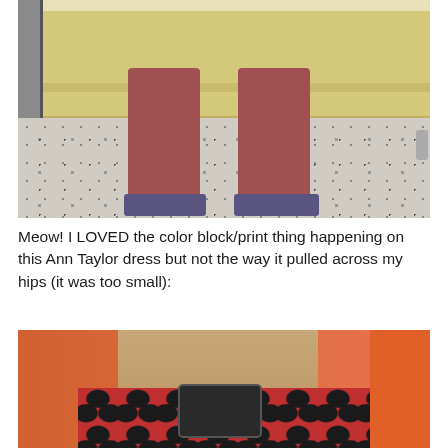[Figure (photo): Photo of person from waist down wearing a yellow layered dress/top and red/salmon colored cropped pants with patterned flats, standing on a speckled tile floor.]
Meow! I LOVED the color block/print thing happening on this Ann Taylor dress but not the way it pulled across my hips (it was too small):
[Figure (photo): Photo of person in a fitting room wearing a red/coral patterned sleeveless dress with dark geometric print, with long brown hair, holding a phone, orange fitting room wall visible in background.]